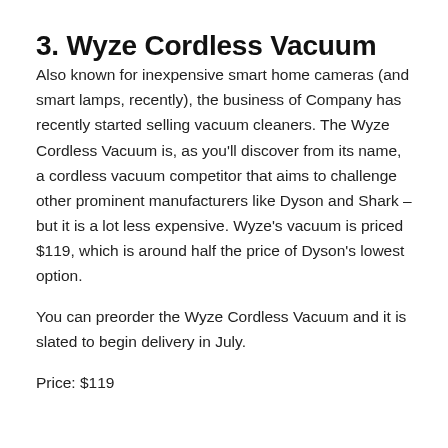3. Wyze Cordless Vacuum
Also known for inexpensive smart home cameras (and smart lamps, recently), the business of Company has recently started selling vacuum cleaners. The Wyze Cordless Vacuum is, as you'll discover from its name, a cordless vacuum competitor that aims to challenge other prominent manufacturers like Dyson and Shark – but it is a lot less expensive. Wyze's vacuum is priced $119, which is around half the price of Dyson's lowest option.
You can preorder the Wyze Cordless Vacuum and it is slated to begin delivery in July.
Price: $119